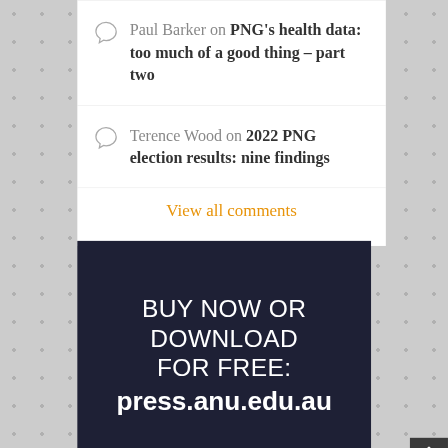Paul Barker on PNG's health data: too much of a good thing – part two
Terence Wood on 2022 PNG election results: nine findings
View all comments
[Figure (other): Dark navy promotional banner with white text reading 'BUY NOW OR DOWNLOAD FOR FREE: press.anu.edu.au']